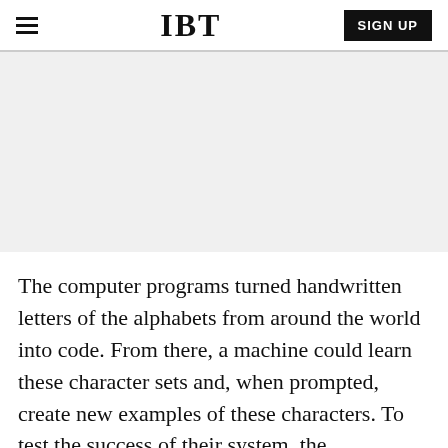IBT
[Figure (other): Advertisement placeholder area with light gray background]
The computer programs turned handwritten letters of the alphabets from around the world into code. From there, a machine could learn these character sets and, when prompted, create new examples of these characters. To test the success of their system, the researchers conducted a "visual Turing test" to